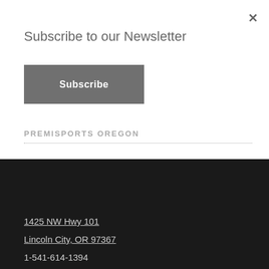Subscribe to our Newsletter
Subscribe
PREMISPORTS OREGON
1425 NW Hwy 101
Lincoln City, OR 97367
1-541-614-1394